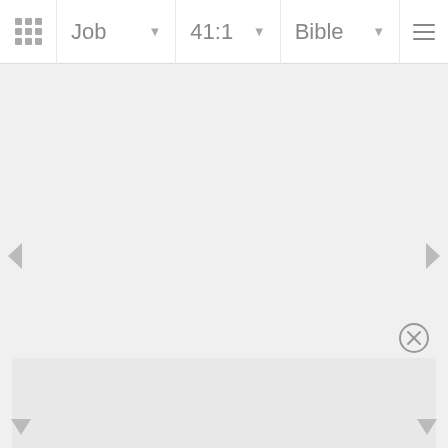Job | 41:1 | Bible
[Figure (screenshot): Bible app navigation bar with grid icon, book selector showing 'Job', chapter selector showing '41:1', version selector showing 'Bible', and hamburger menu]
[Figure (screenshot): Main content area of Bible app, mostly empty gray background with left and right navigation arrows on sides, a close (X) button in lower right, a bottom panel with gray rectangle, and navigation arrows in bottom corners]